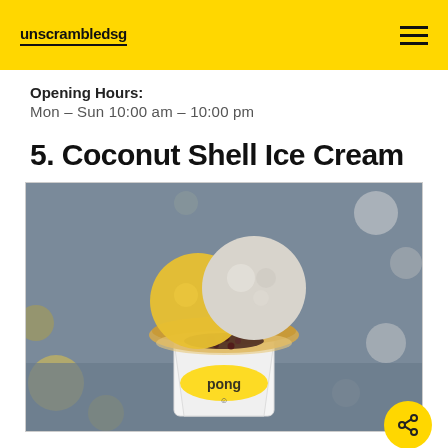unscrambledsg
Opening Hours:
Mon – Sun 10:00 am – 10:00 pm
5. Coconut Shell Ice Cream
[Figure (photo): Photo of coconut shell ice cream with two scoops — one yellow and one white/grey — served in a branded 'pong' cup, with dark toppings, bokeh background.]
via